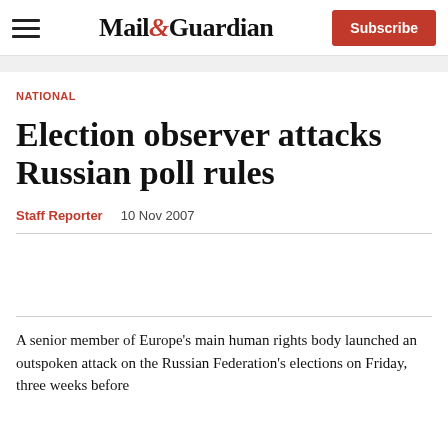Mail&Guardian | Subscribe
NATIONAL
Election observer attacks Russian poll rules
Staff Reporter   10 Nov 2007
A senior member of Europe's main human rights body launched an outspoken attack on the Russian Federation's elections on Friday, three weeks before